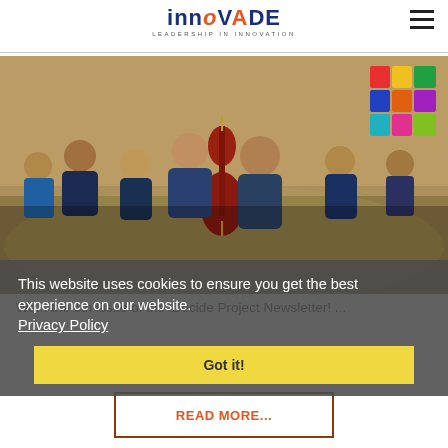innoVADE LEADERSHIP IN INNOVATION
[Figure (photo): Children sitting in a circle on a colorful floor mat in a classroom, with one child holding a red guitar. Children wear plaid uniforms.]
This website uses cookies to ensure you get the best experience on our website. Privacy Policy
Got it!
We... the 6th issue of the iDecide Project Newsletter! ...
READ MORE...